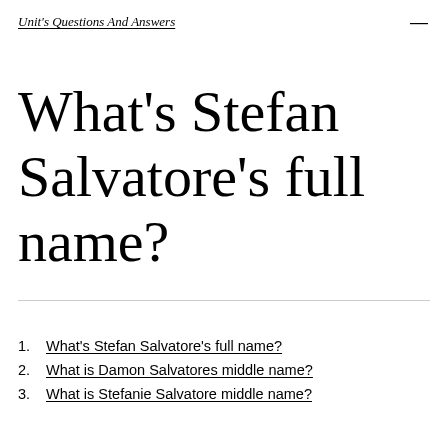Unit's Questions And Answers
What's Stefan Salvatore's full name?
1. What's Stefan Salvatore's full name?
2. What is Damon Salvatores middle name?
3. What is Stefanie Salvatore middle name?